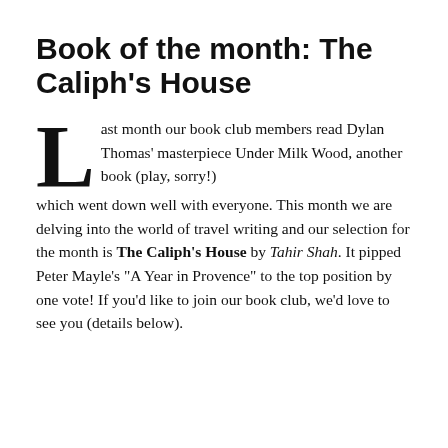Book of the month: The Caliph's House
Last month our book club members read Dylan Thomas' masterpiece Under Milk Wood, another book (play, sorry!) which went down well with everyone. This month we are delving into the world of travel writing and our selection for the month is The Caliph's House by Tahir Shah. It pipped Peter Mayle's "A Year in Provence" to the top position by one vote! If you'd like to join our book club, we'd love to see you (details below).